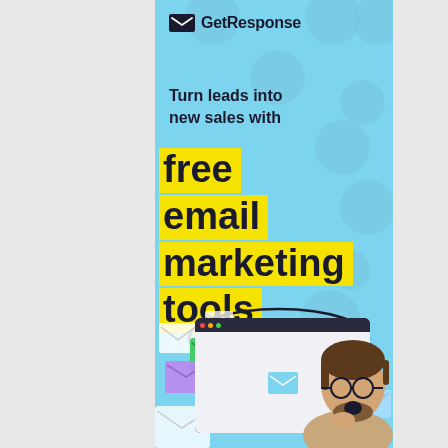[Figure (illustration): GetResponse advertisement banner with light blue background and polka dot pattern. Features GetResponse logo at top, headline 'Turn leads into new sales with', large yellow highlighted text 'free email marketing tools', oval speech bubble with 'for free!', and bottom scene with browser mockup, floating email envelopes, and man with glasses looking surprised.]